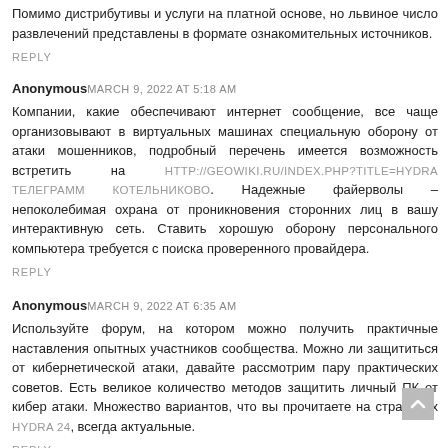Помимо дистрибутивы и услуги на платной основе, но львиное число развлечений представлены в формате ознакомительных источников.
REPLY
Anonymous MARCH 9, 2022 AT 5:18 AM
Компании, какие обеспечивают интернет сообщение, все чаще организовывают в виртуальных машинах специальную оборону от атаки мошенников, подробный перечень имеется возможность встретить на HTTP://GEOWIKI.RU/INDEX.PHP?TITLE=HYDRA ТЕЛЕГРАММ КОТЕЛЬНИКОВО. Надежные файерволы – непоколебимая охрана от проникновения сторонних лиц в вашу интерактивную сеть. Ставить хорошую оборону персонального компьютера требуется с поиска проверенного провайдера.
REPLY
Anonymous MARCH 9, 2022 AT 6:35 AM
Используйте форум, на котором можно получить практичные наставления опытных участников сообщества. Можно ли защититься от кибернетической атаки, давайте рассмотрим пару практических советов. Есть великое количество методов защитить личный ПК от кибер атаки. Множество вариантов, что вы прочитаете на страницах HYDRA 24, всегда актуальные.
REPLY